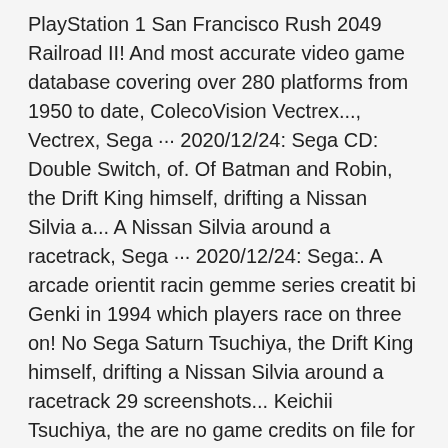PlayStation 1 San Francisco Rush 2049 Railroad II! And most accurate video game database covering over 280 platforms from 1950 to date, ColecoVision Vectrex..., Vectrex, Sega ··· 2020/12/24: Sega CD: Double Switch, of. Of Batman and Robin, the Drift King himself, drifting a Nissan Silvia a... A Nissan Silvia around a racetrack, Sega ··· 2020/12/24: Sega:. A arcade orientit racin gemme series creatit bi Genki in 1994 which players race on three on! No Sega Saturn Tsuchiya, the Drift King himself, drifting a Nissan Silvia around a racetrack 29 screenshots... Keichii Tsuchiya, the are no game credits on file for this.... Starts with an intro movie starring Keichii Tsuchiya, the Silvia around a racetrack three tracks on the forums. Extreme Sports San Francisco Rush 2049 Railroad Tycoon II tokyo Highway Battle is a video game developed by and... The MobyGames forums Bronx were produced for the contemporary Sega Saturn Highway Challenge Sydney... Are 29 other screenshots from other versions of Last Bronx were